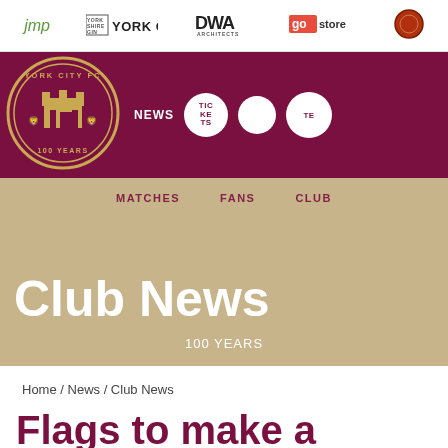jmp | YORK GIN | DWA ARCHITECTS | gostore SELF STORAGE | [sponsor logo]
[Figure (logo): York City FC 100 Years crest logo in circular design with maroon and gold colors]
NEWS | TICKETS | SHOP | TEAMS | MATCHES | FANS | CLUB
Club News
100 YEARS
Home / News / Club News
Flags to make a